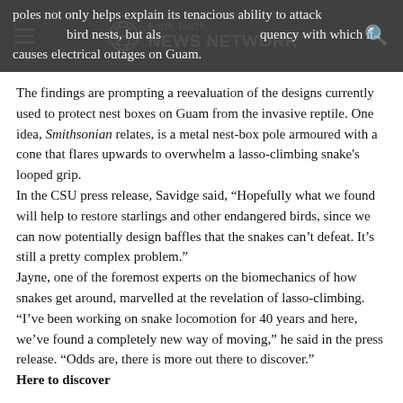Earth Touch NEWS NETWORK
poles not only helps explain its tenacious ability to attack bird nests, but also the frequency with which it causes electrical outages on Guam.
The findings are prompting a reevaluation of the designs currently used to protect nest boxes on Guam from the invasive reptile. One idea, Smithsonian relates, is a metal nest-box pole armoured with a cone that flares upwards to overwhelm a lasso-climbing snake's looped grip.
In the CSU press release, Savidge said, “Hopefully what we found will help to restore starlings and other endangered birds, since we can now potentially design baffles that the snakes can’t defeat. It’s still a pretty complex problem.”
Jayne, one of the foremost experts on the biomechanics of how snakes get around, marvelled at the revelation of lasso-climbing. “I’ve been working on snake locomotion for 40 years and here, we’ve found a completely new way of moving,” he said in the press release. “Odds are, there is more out there to discover.”
Here to discover...